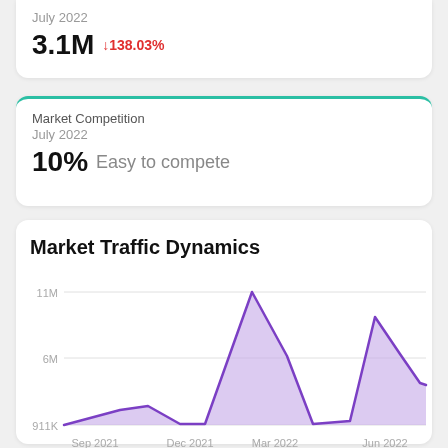July 2022
3.1M YoY: ↓138.03%
Market Competition
July 2022
10% Easy to compete
Market Traffic Dynamics
[Figure (area-chart): Market Traffic Dynamics]